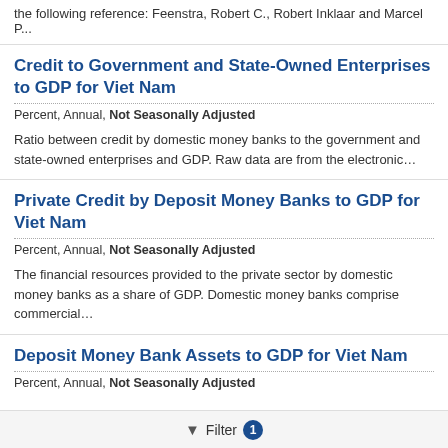the following reference: Feenstra, Robert C., Robert Inklaar and Marcel P...
Credit to Government and State-Owned Enterprises to GDP for Viet Nam
Percent, Annual, Not Seasonally Adjusted
Ratio between credit by domestic money banks to the government and state-owned enterprises and GDP. Raw data are from the electronic…
Private Credit by Deposit Money Banks to GDP for Viet Nam
Percent, Annual, Not Seasonally Adjusted
The financial resources provided to the private sector by domestic money banks as a share of GDP. Domestic money banks comprise commercial…
Deposit Money Bank Assets to GDP for Viet Nam
Percent, Annual, Not Seasonally Adjusted
Filter 1